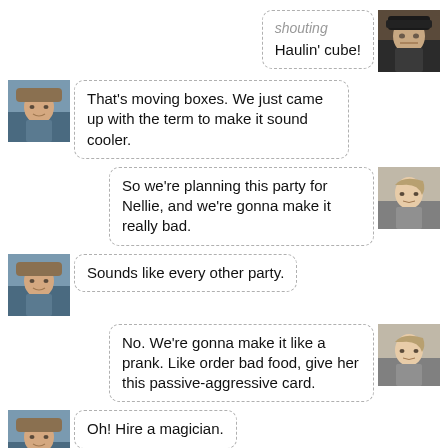shouting
Haulin' cube!
That's moving boxes. We just came up with the term to make it sound cooler.
So we're planning this party for Nellie, and we're gonna make it really bad.
Sounds like every other party.
No. We're gonna make it like a prank. Like order bad food, give her this passive-aggressive card.
Oh! Hire a magician.